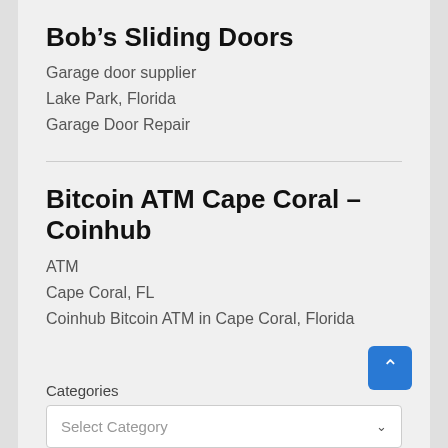Bob's Sliding Doors
Garage door supplier
Lake Park, Florida
Garage Door Repair
Bitcoin ATM Cape Coral – Coinhub
ATM
Cape Coral, FL
Coinhub Bitcoin ATM in Cape Coral, Florida
Categories
Select Category